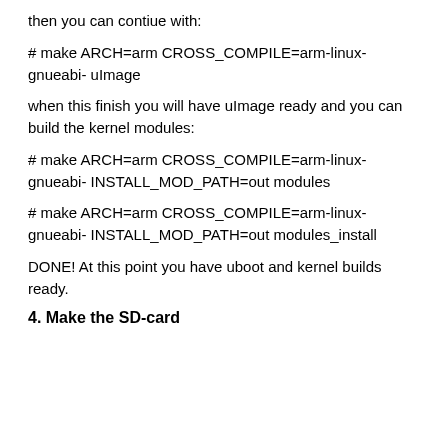then you can contiue with:
# make ARCH=arm CROSS_COMPILE=arm-linux-gnueabi- uImage
when this finish you will have uImage ready and you can build the kernel modules:
# make ARCH=arm CROSS_COMPILE=arm-linux-gnueabi- INSTALL_MOD_PATH=out modules
# make ARCH=arm CROSS_COMPILE=arm-linux-gnueabi- INSTALL_MOD_PATH=out modules_install
DONE! At this point you have uboot and kernel builds ready.
4. Make the SD-card